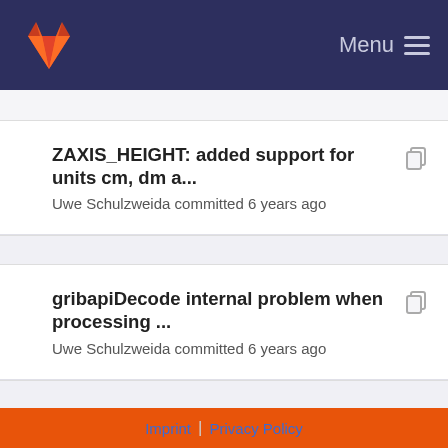Menu
ZAXIS_HEIGHT: added support for units cm, dm a...
Uwe Schulzweida committed 6 years ago
gribapiDecode internal problem when processing ...
Uwe Schulzweida committed 6 years ago
gridGenYvals: bug fix [Bug #6373]
Uwe Schulzweida committed 6 years ago
cdfDefXaxis/cdfDefXaxis: generate bounds for CDI...
Uwe Schulzweida committed 6 years ago
Imprint | Privacy Policy